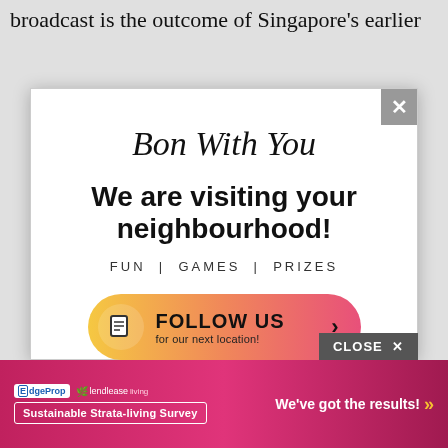broadcast is the outcome of Singapore's earlier
[Figure (infographic): Popup modal advertisement for 'Bon With You' event. Contains script title 'Bon With You', bold headline 'We are visiting your neighbourhood!', subtext 'FUN | GAMES | PRIZES', and a gradient button 'FOLLOW US for our next location!' with a document icon. A close X button appears in the top right corner of the modal.]
CLOSE ×
[Figure (infographic): Pink/magenta bottom banner advertisement for EdgeProp and Lendlease Living 'Sustainable Strata-living Survey' with text 'We've got the results!' and double chevron arrows in yellow.]